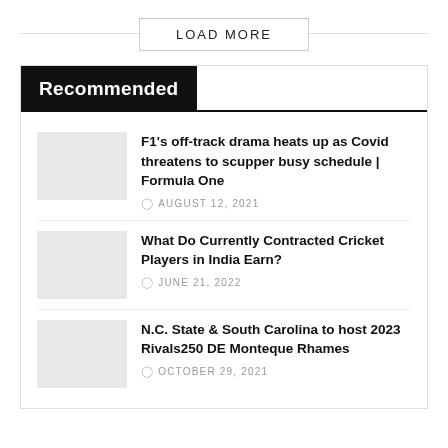LOAD MORE
Recommended
F1’s off-track drama heats up as Covid threatens to scupper busy schedule | Formula One
AUGUST 12, 2021
What Do Currently Contracted Cricket Players in India Earn?
JUNE 21, 2022
N.C. State & South Carolina to host 2023 Rivals250 DE Monteque Rhames
OCTOBER 29, 2021